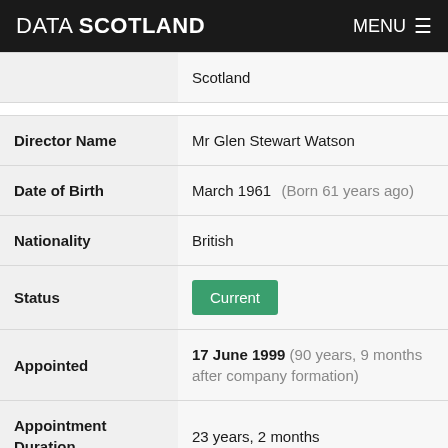DATA SCOTLAND   MENU ≡
| Field | Value |
| --- | --- |
|  | Scotland |
| Director Name | Mr Glen Stewart Watson |
| Date of Birth | March 1961  (Born 61 years ago) |
| Nationality | British |
| Status | Current |
| Appointed | 17 June 1999 (90 years, 9 months after company formation) |
| Appointment Duration | 23 years, 2 months |